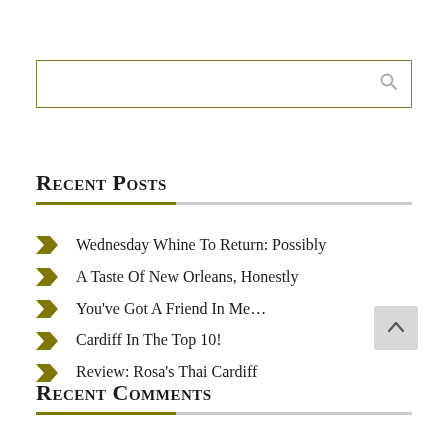[Figure (other): Search input box with olive/dark-yellow border and a search magnifying glass icon on the right side]
Recent Posts
Wednesday Whine To Return: Possibly
A Taste Of New Orleans, Honestly
You've Got A Friend In Me…
Cardiff In The Top 10!
Review: Rosa's Thai Cardiff
Recent Comments